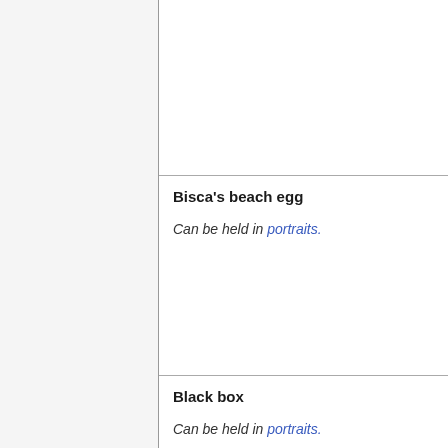Bisca's beach egg
Can be held in portraits.
Black box
Can be held in portraits.